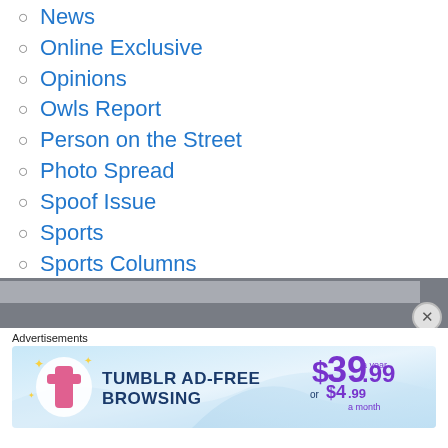News
Online Exclusive
Opinions
Owls Report
Person on the Street
Photo Spread
Spoof Issue
Sports
Sports Columns
Uncategorized
Unfiltered
Unsung Hero
Advertisements
[Figure (other): Tumblr Ad-Free Browsing advertisement banner: $39.99 a year or $4.99 a month]